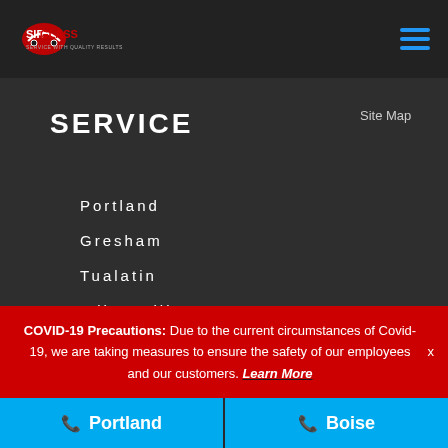SirGlass logo and navigation
SERVICE
Site Map
Portland
Gresham
Tualatin
Wilsonville
Lake Oswego
COVID-19 Precautions: Due to the current circumstances of Covid-19, we are taking measures to ensure the safety of our employees and our customers. Learn More x
Portland
Boise